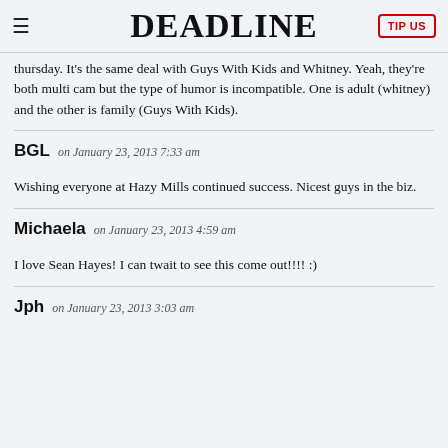DEADLINE
thursday. It’s the same deal with Guys With Kids and Whitney. Yeah, they’re both multi cam but the type of humor is incompatible. One is adult (whitney) and the other is family (Guys With Kids).
BGL on January 23, 2013 7:33 am
Wishing everyone at Hazy Mills continued success. Nicest guys in the biz.
Michaela on January 23, 2013 4:59 am
I love Sean Hayes! I can twait to see this come out!!!! :)
Jph on January 23, 2013 3:03 am